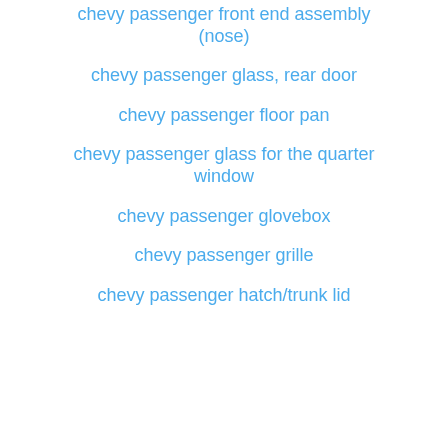chevy passenger front end assembly (nose)
chevy passenger glass, rear door
chevy passenger floor pan
chevy passenger glass for the quarter window
chevy passenger glovebox
chevy passenger grille
chevy passenger hatch/trunk lid